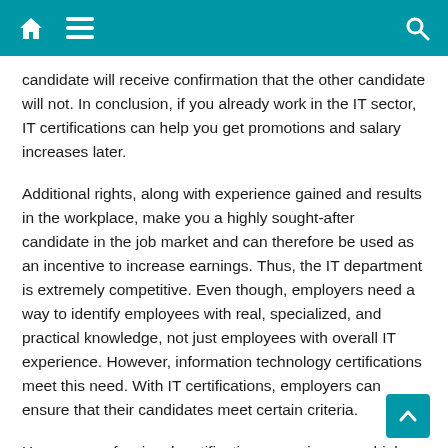Navigation bar with home, menu, and search icons
candidate will receive confirmation that the other candidate will not. In conclusion, if you already work in the IT sector, IT certifications can help you get promotions and salary increases later.
Additional rights, along with experience gained and results in the workplace, make you a highly sought-after candidate in the job market and can therefore be used as an incentive to increase earnings. Thus, the IT department is extremely competitive. Even though, employers need a way to identify employees with real, specialized, and practical knowledge, not just employees with overall IT experience. However, information technology certifications meet this need. With IT certifications, employers can ensure that their candidates meet certain criteria.
However, professional certifications can give you a higher salary, which is not always the case. Take for example the Microsoft – Office Expert (M.O.S) certificate. According to the study, the team found